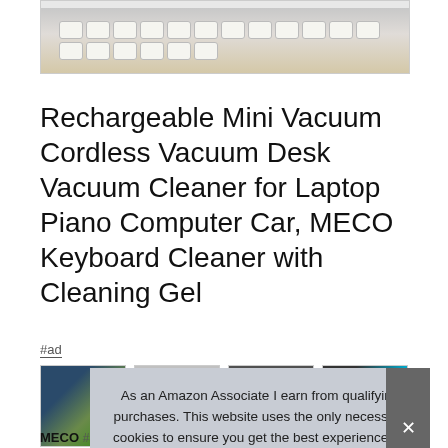[Figure (photo): Partial view of a laptop keyboard at the top of the page]
Rechargeable Mini Vacuum Cordless Vacuum Desk Vacuum Cleaner for Laptop Piano Computer Car, MECO Keyboard Cleaner with Cleaning Gel
#ad
[Figure (photo): Row of four product thumbnail images showing various vacuum cleaners]
As an Amazon Associate I earn from qualifying purchases. This website uses the only necessary cookies to ensure you get the best experience on our website. More information
MECO #ad - And the filter media can be washed clean with